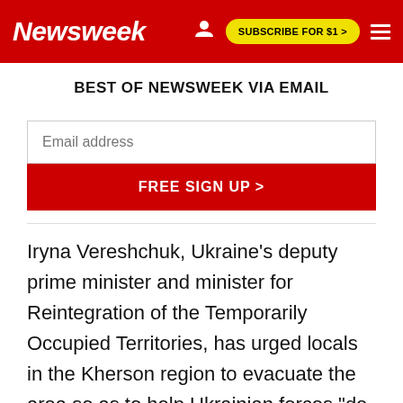Newsweek | SUBSCRIBE FOR $1 >
BEST OF NEWSWEEK VIA EMAIL
[Figure (other): Email address input field and FREE SIGN UP button for Newsweek newsletter]
Iryna Vereshchuk, Ukraine's deputy prime minister and minister for Reintegration of the Temporarily Occupied Territories, has urged locals in the Kherson region to evacuate the area so as to help Ukrainian forces "de-occupy" the area.